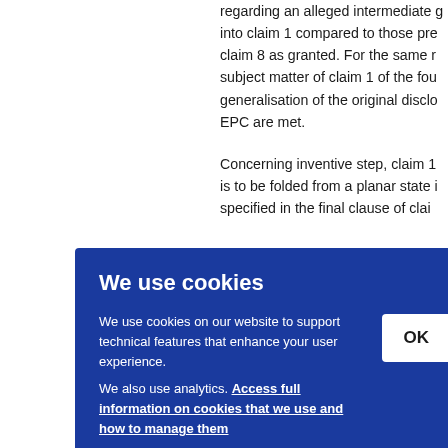regarding an alleged intermediate g into claim 1 compared to those pre claim 8 as granted. For the same r subject matter of claim 1 of the fou generalisation of the original disclo EPC are met.

Concerning inventive step, claim 1 is to be folded from a planar state i specified in the final clause of clai to 25 finall close y also paren space the w . No d th of Dime
We use cookies on our website to support technical features that enhance your user experience.
We also use analytics. Access full information on cookies that we use and how to manage them